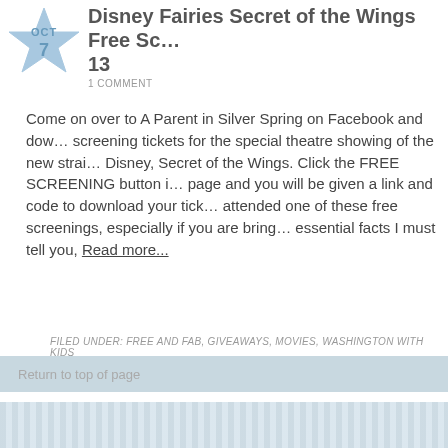[Figure (illustration): Light blue star shape with OCT 7 date badge]
Disney Fairies Secret of the Wings Free Sc… 13
1 COMMENT
Come on over to A Parent in Silver Spring on Facebook and dow… screening tickets for the special theatre showing of the new strai… Disney, Secret of the Wings. Click the FREE SCREENING button i… page and you will be given a link and code to download your tick… attended one of these free screenings, especially if you are bring… essential facts I must tell you, Read more…
FILED UNDER: FREE AND FAB, GIVEAWAYS, MOVIES, WASHINGTON WITH KIDS
Return to top of page